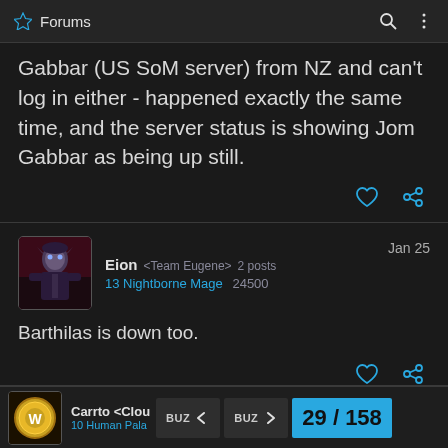Forums
Gabbar (US SoM server) from NZ and can't log in either - happened exactly the same time, and the server status is showing Jom Gabbar as being up still.
Eion <Team Eugene> 2 posts
13 Nightborne Mage   24500
Jan 25
Barthilas is down too.
Carrto <Clou  10 Human Pala  29 / 158